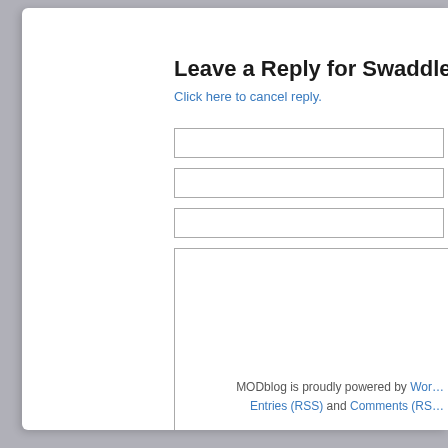Leave a Reply for Swaddle Me kapalo
Click here to cancel reply.
Name
Mail (will not be published)
Website
MODblog is proudly powered by WordPress. Entries (RSS) and Comments (RSS)